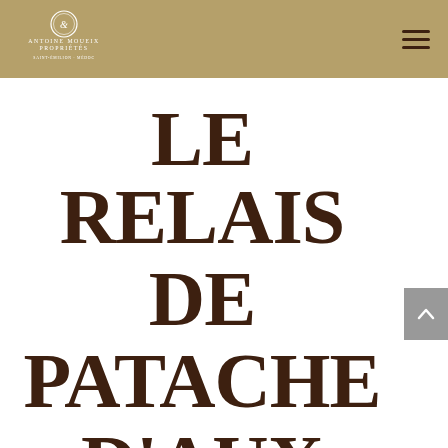[Figure (logo): Antoine Moueix Propriétés logo — circular emblem with decorative lettering and text 'ANTOINE MOUEIX PROPRIÉTÉS / SAINT-ÉMILION · MÉDOC' in white on gold background]
LE RELAIS DE PATACHE D'AUX